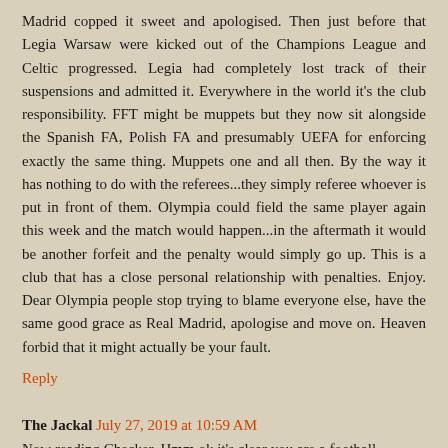Madrid copped it sweet and apologised. Then just before that Legia Warsaw were kicked out of the Champions League and Celtic progressed. Legia had completely lost track of their suspensions and admitted it. Everywhere in the world it's the club responsibility. FFT might be muppets but they now sit alongside the Spanish FA, Polish FA and presumably UEFA for enforcing exactly the same thing. Muppets one and all then. By the way it has nothing to do with the referees...they simply referee whoever is put in front of them. Olympia could field the same player again this week and the match would happen...in the aftermath it would be another forfeit and the penalty would simply go up. This is a club that has a close personal relationship with penalties. Enjoy. Dear Olympia people stop trying to blame everyone else, have the same good grace as Real Madrid, apologise and move on. Heaven forbid that it might actually be your fault.
Reply
The Jackal  July 27, 2019 at 10:59 AM
Now reading Checker, Hmm ok it's clear you are a football...